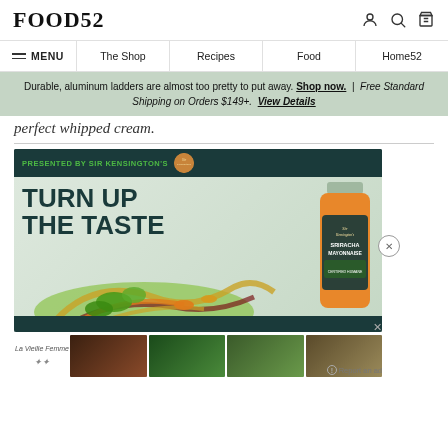FOOD52
MENU | The Shop | Recipes | Food | Home52
Durable, aluminum ladders are almost too pretty to put away. Shop now. | Free Standard Shipping on Orders $149+. View Details
perfect whipped cream.
[Figure (infographic): Advertisement for Sir Kensington's Sriracha Mayonnaise. Dark teal header reads 'PRESENTED BY SIR KENSINGTON'S' in green text with brand logo. Large text 'TURN UP THE TASTE' in dark on light background with a jar of Sir Kensington's Sriracha Mayonnaise and a colorful salad.]
[Figure (infographic): Bottom strip showing La Vieille Femme logo and four thumbnail images, with an X close button and 'Report an ad' text.]